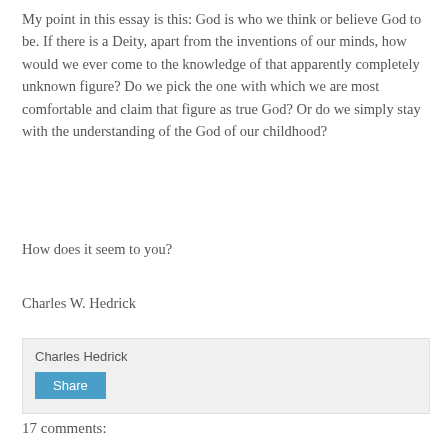My point in this essay is this: God is who we think or believe God to be. If there is a Deity, apart from the inventions of our minds, how would we ever come to the knowledge of that apparently completely unknown figure?  Do we pick the one with which we are most comfortable and claim that figure as true God?  Or do we simply stay with the understanding of the God of our childhood?
How does it seem to you?
Charles W. Hedrick
Charles Hedrick
Share
17 comments: